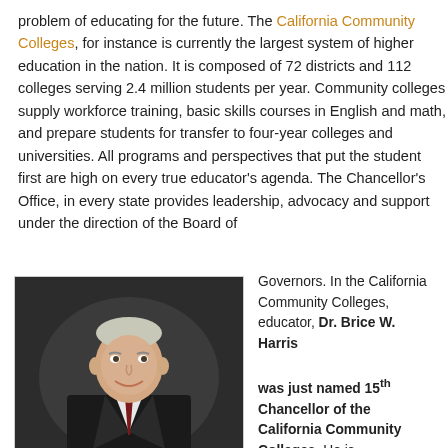problem of educating for the future. The California Community Colleges, for instance is currently the largest system of higher education in the nation. It is composed of 72 districts and 112 colleges serving 2.4 million students per year. Community colleges supply workforce training, basic skills courses in English and math, and prepare students for transfer to four-year colleges and universities. All programs and perspectives that put the student first are high on every true educator's agenda. The Chancellor's Office, in every state provides leadership, advocacy and support under the direction of the Board of
[Figure (photo): Professional headshot of Dr. Brice W. Harris, a man in a dark suit with a red tie, smiling, against a dark background.]
Governors. In the California Community Colleges, educator, Dr. Brice W. Harris was just named 15th Chancellor of the California Community Colleges. He is representative of those who hold